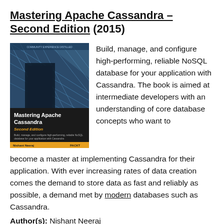Mastering Apache Cassandra – Second Edition (2015)
[Figure (photo): Book cover of Mastering Apache Cassandra Second Edition by Nishant Neeraj, published by Packt. Shows a glass/metal architectural structure in blue tones with the book title and author name on a dark band at the bottom.]
Build, manage, and configure high-performing, reliable NoSQL database for your application with Cassandra. The book is aimed at intermediate developers with an understanding of core database concepts who want to become a master at implementing Cassandra for their application. With ever increasing rates of data creation comes the demand to store data as fast and reliably as possible, a demand met by modern databases such as Cassandra.
Author(s): Nishant Neeraj